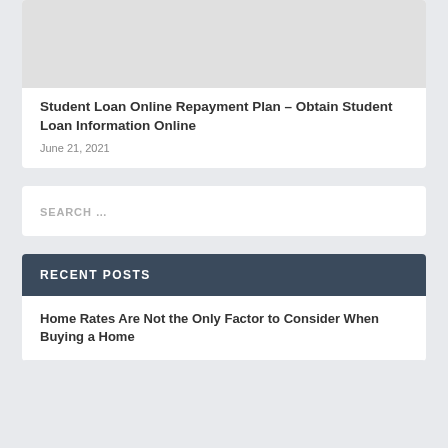[Figure (photo): Gray image placeholder at top of article card]
Student Loan Online Repayment Plan – Obtain Student Loan Information Online
June 21, 2021
SEARCH …
RECENT POSTS
Home Rates Are Not the Only Factor to Consider When Buying a Home